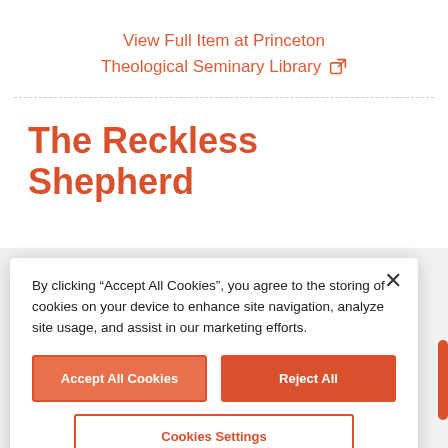View Full Item at Princeton Theological Seminary Library
The Reckless Shepherd
By clicking “Accept All Cookies”, you agree to the storing of cookies on your device to enhance site navigation, analyze site usage, and assist in our marketing efforts.
Accept All Cookies
Reject All
Cookies Settings